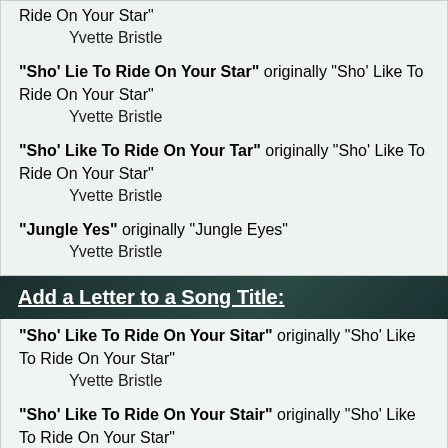Ride On Your Star"
    Yvette Bristle
"Sho' Lie To Ride On Your Star" originally "Sho' Like To Ride On Your Star"
    Yvette Bristle
"Sho' Like To Ride On Your Tar" originally "Sho' Like To Ride On Your Star"
    Yvette Bristle
"Jungle Yes" originally "Jungle Eyes"
    Yvette Bristle
Add a Letter to a Song Title:
"Sho' Like To Ride On Your Sitar" originally "Sho' Like To Ride On Your Star"
    Yvette Bristle
"Sho' Like To Ride On Your Stair" originally "Sho' Like To Ride On Your Star"
    Yvette Bristle